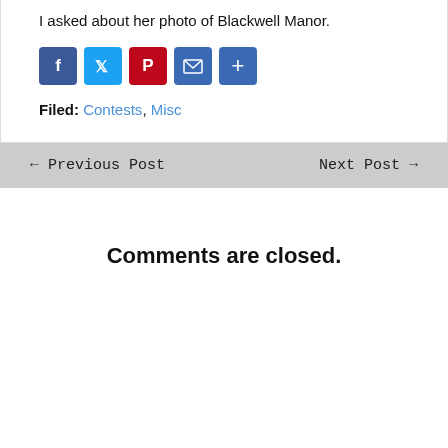I asked about her photo of Blackwell Manor.
[Figure (other): Social share icons: Facebook, Twitter, Pinterest, Email, Share]
Filed: Contests, Misc
← Previous Post    Next Post →
Comments are closed.